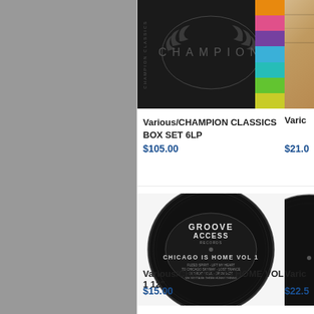[Figure (photo): Champion Classics Box Set 6LP album cover — dark background with CHAMPION text and laurel wreath graphic, with colorful vertical color bars on right edge]
Various/CHAMPION CLASSICS BOX SET 6LP
$105.00
[Figure (photo): Partial view of another album cover with wooden/tan background — right edge only visible]
Vario
$21.0
[Figure (photo): Groove Access Records vinyl label — black circular record label with GROOVE ACCESS RECORDS text and CHICAGO IS HOME VOL 1 text]
Various/CHICAGO IS HOME VOL 1 12"
$15.00
[Figure (photo): Partial view of another black vinyl record — right edge only visible]
Varic
$22.5